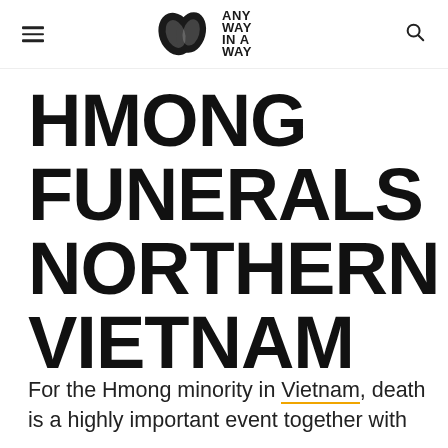ANY WAY IN A WAY (logo)
HMONG FUNERALS NORTHERN VIETNAM
For the Hmong minority in Vietnam, death is a highly important event together with